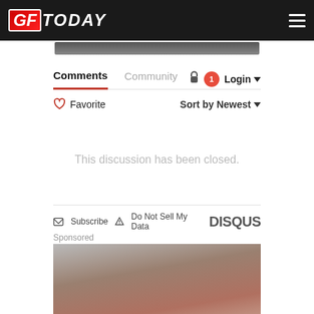GF Today
Comments  Community  Login
Favorite   Sort by Newest
This discussion has been closed.
Subscribe  Do Not Sell My Data  DISQUS
Sponsored
[Figure (photo): Sponsored advertisement image showing a person, brownish/gray tones]